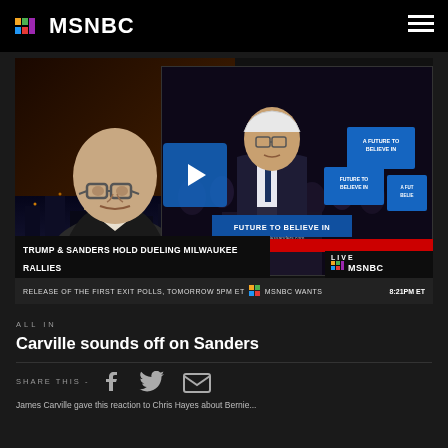MSNBC
[Figure (screenshot): MSNBC news broadcast screenshot showing James Carville on left panel and Bernie Sanders at podium on right, with Breaking News chyron: TRUMP & SANDERS HOLD DUELING MILWAUKEE RALLIES, ticker: RELEASE OF THE FIRST EXIT POLLS, TOMORROW 5PM ET, MSNBC WANTS, 8:21PM ET]
ALL IN
Carville sounds off on Sanders
SHARE THIS -
James Carville gave this reaction to Chris Hayes about Bernie...